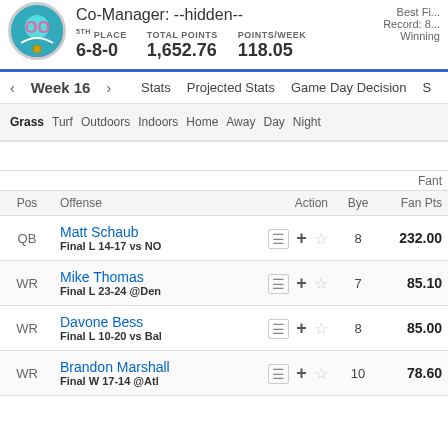Co-Manager: --hidden-- | 5TH PLACE 6-8-0 | TOTAL POINTS 1,652.76 | POINTS/WEEK 118.05 | Best Fi... | Record: 8... | Winning...
Week 16
Stats   Projected Stats   Game Day Decision   S
Grass  Turf  Outdoors  Indoors  Home  Away  Day  Night
Fant
| Pos | Offense | Action | Bye | Fan Pts |
| --- | --- | --- | --- | --- |
| QB | Matt Schaub
Final L 14-17 vs NO | + ☆ | 8 | 232.00 |
| WR | Mike Thomas
Final L 23-24 @Den | + ☆ | 7 | 85.10 |
| WR | Davone Bess
Final L 10-20 vs Bal | + ☆ | 8 | 85.00 |
| WR | Brandon Marshall
Final W 17-14 @Atl | + ☆ | 10 | 78.60 |